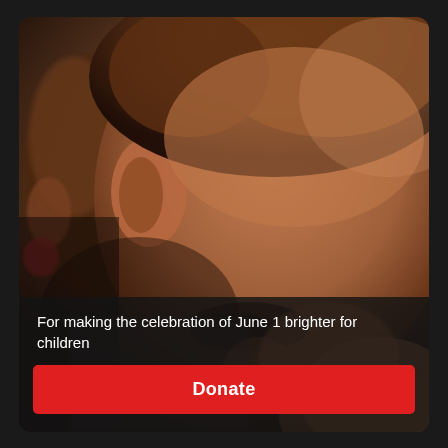[Figure (photo): Close-up photograph of a child with head bowed/lowered, face partially visible, brownish hair, alongside another person partially visible on the left. Dark and emotional tone.]
For making the celebration of June 1 brighter for children
Donate